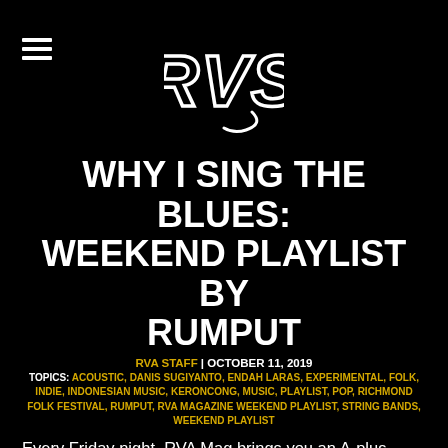RVS logo and hamburger menu
WHY I SING THE BLUES: WEEKEND PLAYLIST BY RUMPUT
RVA STAFF | OCTOBER 11, 2019
TOPICS: ACOUSTIC, DANIS SUGIYANTO, ENDAH LARAS, EXPERIMENTAL, FOLK, INDIE, INDONESIAN MUSIC, KERONCONG, MUSIC, PLAYLIST, POP, RICHMOND FOLK FESTIVAL, RUMPUT, RVA MAGAZINE WEEKEND PLAYLIST, STRING BANDS, WEEKEND PLAYLIST
Every Friday night, RVA Mag brings you an A-plus can't-miss playlist curated by Virginia's most influential artists, musicians, and institutions.
This one comes to us courtesy of Rumput, a delightful Richmond-based ensemble that combines the classic string-band traditions of early 20th century American music with folk music traditions of Indonesia, mainly